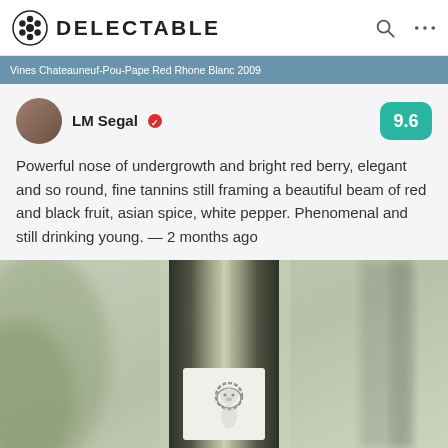DELECTABLE
Vines Chateauneuf-Pou-Pape Red Rhone Blanc 2009
LM Segal ✓  9.6
Powerful nose of undergrowth and bright red berry, elegant and so round, fine tannins still framing a beautiful beam of red and black fruit, asian spice, white pepper. Phenomenal and still drinking young. — 2 months ago
Daniel, Andrew and 31 others liked this
[Figure (photo): Close-up photo of a dark wine bottle with a light-colored label featuring a lion illustration, set against a blurred outdoor garden background with green plants and architectural elements.]